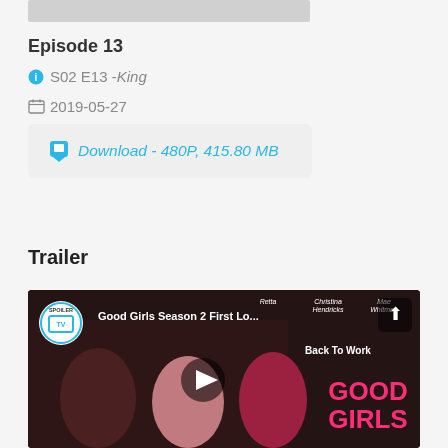[Figure (screenshot): Gray image bar placeholder at top]
Episode 13
S02 E13 - King
2019-05-27
Download - 480P, 415.80 MB
Trailer
[Figure (screenshot): Video thumbnail for Good Girls Season 2 First Look trailer with SpoilerTV logo, three women, and Good Girls Back To Work text]